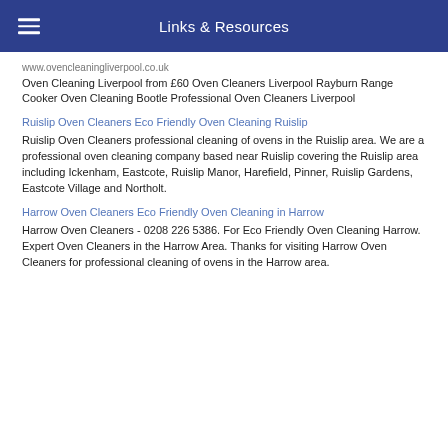Links & Resources
www.ovencleaningliverpool.co.uk
Oven Cleaning Liverpool from £60 Oven Cleaners Liverpool Rayburn Range Cooker Oven Cleaning Bootle Professional Oven Cleaners Liverpool
Ruislip Oven Cleaners Eco Friendly Oven Cleaning Ruislip
Ruislip Oven Cleaners professional cleaning of ovens in the Ruislip area. We are a professional oven cleaning company based near Ruislip covering the Ruislip area including Ickenham, Eastcote, Ruislip Manor, Harefield, Pinner, Ruislip Gardens, Eastcote Village and Northolt.
Harrow Oven Cleaners Eco Friendly Oven Cleaning in Harrow
Harrow Oven Cleaners - 0208 226 5386. For Eco Friendly Oven Cleaning Harrow. Expert Oven Cleaners in the Harrow Area. Thanks for visiting Harrow Oven Cleaners for professional cleaning of ovens in the Harrow area.